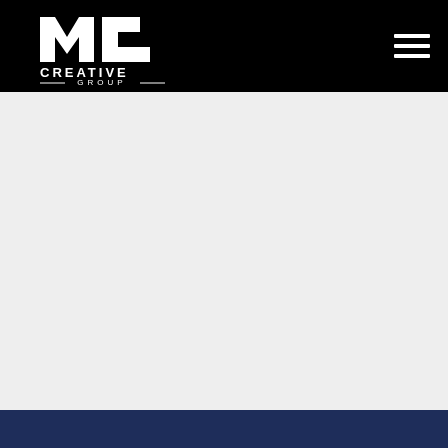MC Creative Group — navigation header with logo and hamburger menu
[Figure (logo): MC Creative Group logo in white on black background. Large stylized MC monogram letters above the text CREATIVE GROUP with decorative lines.]